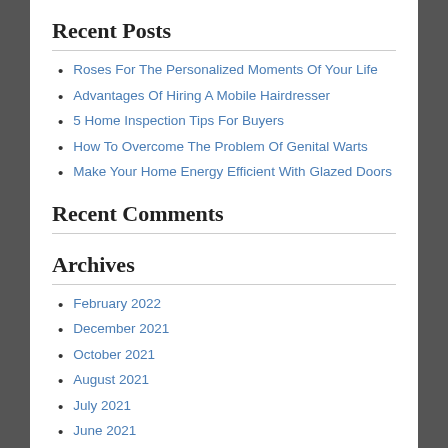Recent Posts
Roses For The Personalized Moments Of Your Life
Advantages Of Hiring A Mobile Hairdresser
5 Home Inspection Tips For Buyers
How To Overcome The Problem Of Genital Warts
Make Your Home Energy Efficient With Glazed Doors
Recent Comments
Archives
February 2022
December 2021
October 2021
August 2021
July 2021
June 2021
April 2021